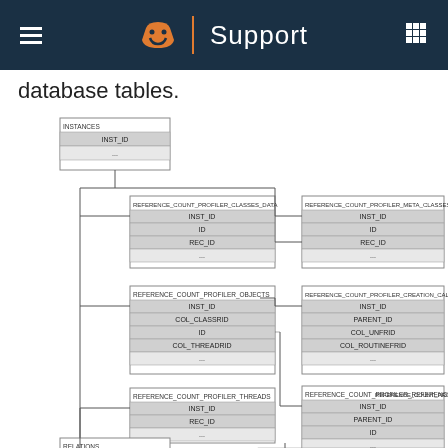Support
database tables.
[Figure (engineering-diagram): Entity-relationship diagram showing INSTANCES table connected to multiple REFERENCE_COUNT_PROFILER tables (CLASSES_DATA, META_CLASSES_DATA, OBJECTS, CREATION_CALL_STA, REFERENCES, ADDREF_RELEASE_CALL_S, THREADS) and RELATIONS table with their respective columns (INST_ID, ID, REC_ID, PARENT_ID, COL_CLASSRID, COL_THREADRID, COL_UNFRID, COL_ROUTINEFRID, COL_ROUTINE_NAME) and relationship connectors.]